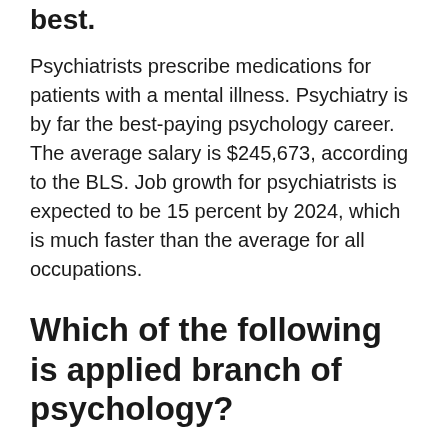best.
Psychiatrists prescribe medications for patients with a mental illness. Psychiatry is by far the best-paying psychology career. The average salary is $245,673, according to the BLS. Job growth for psychiatrists is expected to be 15 percent by 2024, which is much faster than the average for all occupations.
Which of the following is applied branch of psychology?
Applied psychology is divided into different branches. Some major branches include educational psychology, clinical psychology,